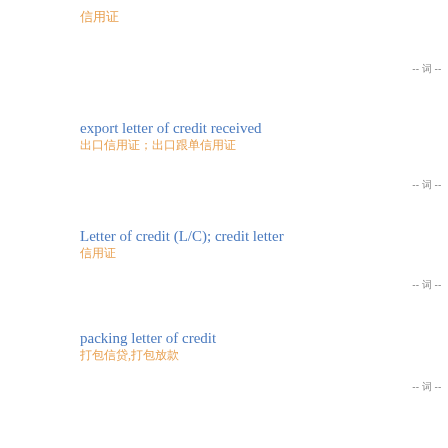信用证
-- 词 --
export letter of credit received
出口信用证；出口跟单信用证
-- 词 --
Letter of credit (L/C); credit letter
信用证
-- 词 --
packing letter of credit
打包信贷,打包放款
-- 词 --
straight letter of credit
直接信用证|限制性信用证|直线信用证
-- 词 --
operative cable credit
(电报开立) 电汇信用证
-- 词 --